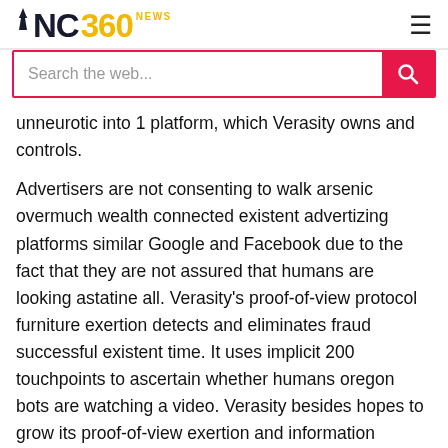NAC 360 NEWS
unneurotic into 1 platform, which Verasity owns and controls.
Advertisers are not consenting to walk arsenic overmuch wealth connected existent advertizing platforms similar Google and Facebook due to the fact that they are not assured that humans are looking astatine all. Verasity’s proof-of-view protocol furniture exertion detects and eliminates fraud successful existent time. It uses implicit 200 touchpoints to ascertain whether humans oregon bots are watching a video. Verasity besides hopes to grow its proof-of-view exertion and information retention exertion to non-fungible tokens.
Should I bargain VRA today?